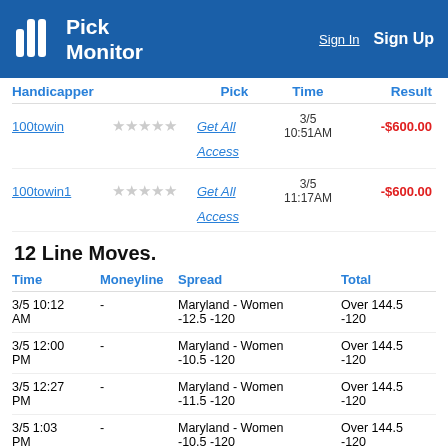Pick Monitor | Sign In | Sign Up
| Handicapper | Pick | Time | Result |
| --- | --- | --- | --- |
| 100towin | Get All Access | 3/5 10:51AM | -$600.00 |
| 100towin1 | Get All Access | 3/5 11:17AM | -$600.00 |
12 Line Moves.
| Time | Moneyline | Spread | Total |
| --- | --- | --- | --- |
| 3/5 10:12 AM | - | Maryland - Women -12.5 -120 | Over 144.5 -120 |
| 3/5 12:00 PM | - | Maryland - Women -10.5 -120 | Over 144.5 -120 |
| 3/5 12:27 PM | - | Maryland - Women -11.5 -120 | Over 144.5 -120 |
| 3/5 1:03 PM | - | Maryland - Women -10.5 -120 | Over 144.5 -120 |
| 3/5 1:04 | - | Maryland - Women | Over 144.5 |